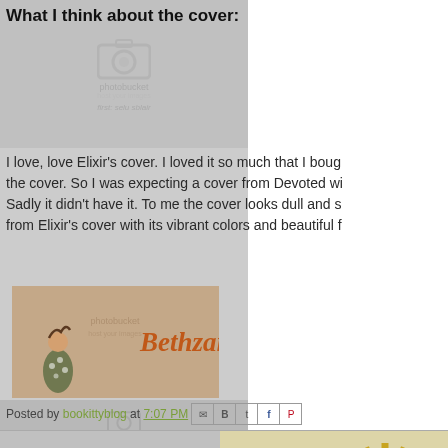What I think about the cover:
I love, love Elixir's cover. I loved it so much that I bough the cover. So I was expecting a cover from Devoted wi Sadly it didn't have it. To me the cover looks dull and s from Elixir's cover with its vibrant colors and beautiful f
[Figure (photo): Photobucket placeholder image top-left with camera icon]
[Figure (illustration): Bethzaida signature banner with stylized text and fairy illustration]
[Figure (photo): Photobucket placeholder image mid-left with camera icon]
Posted by bookittyblog at 7:07 PM
[Figure (photo): Bottom left photobucket placeholder with camera icon]
[Figure (illustration): Bottom right decorative sun/starburst illustration on aged paper background with green dots]